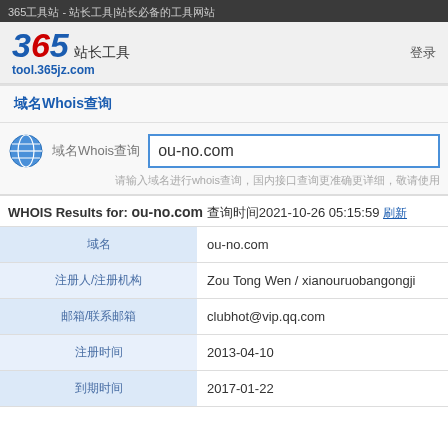365工具站 - 站长工具|站长必备的工具网站
[Figure (logo): 365 站长工具 logo with tool.365jz.com URL]
域名Whois查询
域名Whois查询  ou-no.com
WHOIS Results for: ou-no.com  查询时间2021-10-26 05:15:59 刷新
| 字段 | 值 |
| --- | --- |
| 域名 | ou-no.com |
| 注册人/注册机构 | Zou Tong Wen / xianouruobangongji |
| 邮箱/联系邮箱 | clubhot@vip.qq.com |
| 注册时间 | 2013-04-10 |
| 到期时间 | 2017-01-22 |